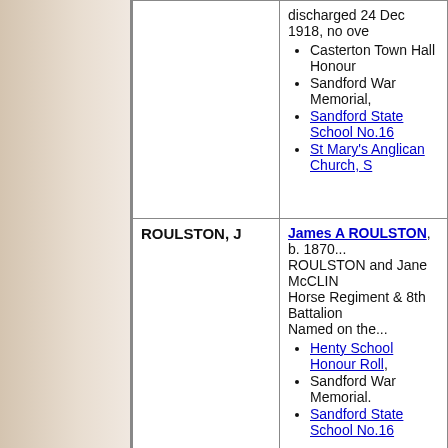| Name | Details |
| --- | --- |
|  | discharged 24 Dec 1918, no ove...
• Casterton Town Hall Honour...
• Sandford War Memorial,
• Sandford State School No.16...
• St Mary's Anglican Church, S... |
| ROULSTON, J | James A ROULSTON, b. 1870... ROULSTON and Jane McCLIN... Horse Regiment & 8th Battalion... Named on the...
• Henty School Honour Roll,
• Sandford War Memorial.
• Sandford State School No.16... |
| SEALEY, C | Charles Harold SEALEY, b. 1... SEALEY and Mary Ann COX. W... 3-16 RTA 31-10-17. Named on t...
• Sandford War Memorial.
• Sandford State School No.16... |
| SHEARWOOD, L | Lawrence Matthew SHEARW... George SHEARWOOD and Mar... A B G Railway Coy, AIF, enliste... the...
• Sandford War Memorial.
• Sandford State School No.16... |